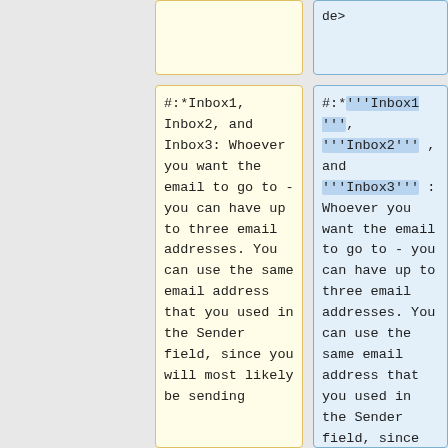de>
#:*Inbox1, Inbox2, and Inbox3: Whoever you want the email to go to - you can have up to three email addresses. You can use the same email address that you used in the Sender field, since you will most likely be sending
#:*'''Inbox1''', '''Inbox2''', and '''Inbox3''': Whoever you want the email to go to - you can have up to three email addresses. You can use the same email address that you used in the Sender field, since you will